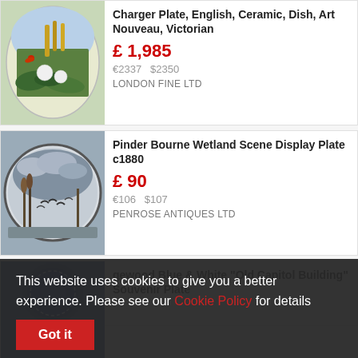[Figure (photo): Oval decorative ceramic charger plate with Art Nouveau floral and bird design, lily pads and flowers in greens and whites]
Charger Plate, English, Ceramic, Dish, Art Nouveau, Victorian
£ 1,985
€2337   $2350
LONDON FINE LTD
[Figure (photo): Round ceramic display plate with painted wetland scene, birds flying over reeds and cloudy sky, dark border]
Pinder Bourne Wetland Scene Display Plate c1880
£ 90
€106   $107
PENROSE ANTIQUES LTD
[Figure (photo): Partial view of a blue and white Wedgwood souvenir plate]
Wedgwood Blue & White "Old Capitol Building" Souvenir Plate
This website uses cookies to give you a better experience. Please see our Cookie Policy for details
Got it